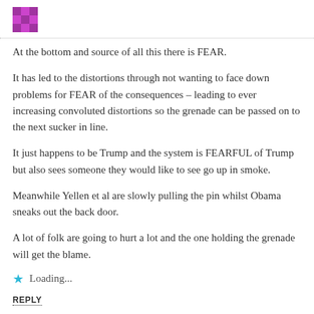[Figure (illustration): Small pixel-art style avatar icon in purple/magenta tones, top left]
At the bottom and source of all this there is FEAR.
It has led to the distortions through not wanting to face down problems for FEAR of the consequences – leading to ever increasing convoluted distortions so the grenade can be passed on to the next sucker in line.
It just happens to be Trump and the system is FEARFUL of Trump but also sees someone they would like to see go up in smoke.
Meanwhile Yellen et al are slowly pulling the pin whilst Obama sneaks out the back door.
A lot of folk are going to hurt a lot and the one holding the grenade will get the blame.
Loading...
REPLY
[Figure (illustration): Pixel-art style avatar icon in purple/magenta tones for Fred Rogers]
Fred Rogers said: January 23, 2017 3:31:50 at 3:31 AM
Bernanke/Yellen are the ones holding the grenade — but they are